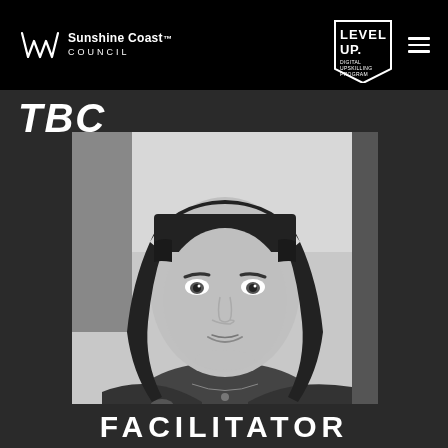Sunshine Coast Council | LEVEL UP. DIGITAL UPSKILLING PROGRAM
TBC
[Figure (photo): Black and white portrait photo of a woman with dark bangs and long dark hair, wearing a floral top and a necklace, looking at the camera with a slight smile.]
FACILITATOR